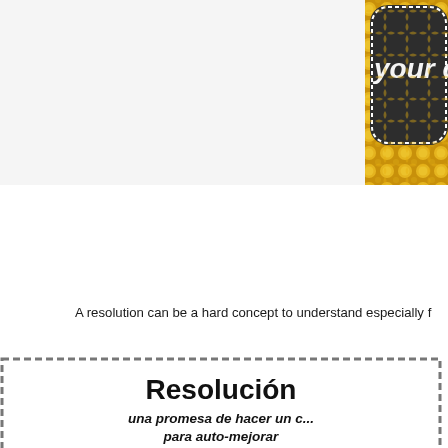[Figure (illustration): Top portion of a decorative classroom resource page. A gold glitter quatrefoil/honeycomb pattern background with a dark chalkboard-style banner containing italic white text (partially visible: 'your classro...'). The banner has a white dotted border.]
A resolution can be a hard concept to understand especially for young children who may be hearing about resolutions, but not seeing their families go through the process. Help students understand the importance of these. It is a good idea to discuss resolutions especially after winter break, and also explain that it is important to strive to keep them. This anchor chart can help students visualize and remember resolutions. Please enjoy if you would like to use this in your classroom.
[Figure (illustration): Partial anchor chart worksheet in Spanish with dashed border. Title: 'Resolución' (bold, large). Subtitle in italic bold: 'una promesa de hacer un c... para auto-mejorar'. Below is a tree/concept map structure with three columns labeled 'es', 'puede', and a third column (partially visible). Each column has blank lines underneath for writing.]